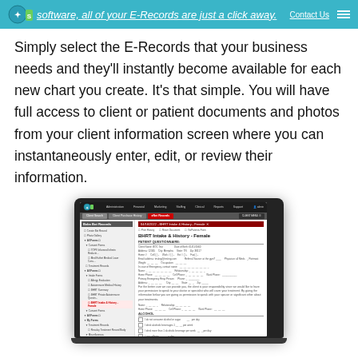software, all of your E-Records are just a click away.
Simply select the E-Records that your business needs and they'll instantly become available for each new chart you create. It's that simple. You will have full access to client or patient documents and photos from your client information screen where you can instantaneously enter, edit, or review their information.
[Figure (screenshot): A laptop computer displaying a medical software interface showing 'BHRT Intake & History - Female' patient questionnaire form with a sidebar navigation menu listing various E-Records options.]